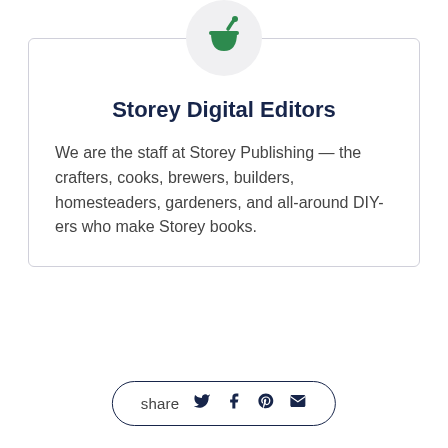[Figure (logo): Green mortar and pestle icon inside a light gray circle]
Storey Digital Editors
We are the staff at Storey Publishing — the crafters, cooks, brewers, builders, homesteaders, gardeners, and all-around DIY-ers who make Storey books.
share